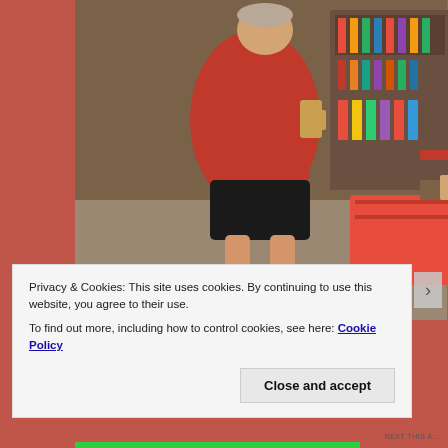[Figure (photo): A person wearing a red jacket and black shorts sits on a blue plastic stool inside a small shop or restaurant, holding a glass mug. Behind them is a colorful table with items on it, and shelves stocked with various drinks and products. Another blue plastic chair is visible on the right.]
Privacy & Cookies: This site uses cookies. By continuing to use this website, you agree to their use.
To find out more, including how to control cookies, see here: Cookie Policy
Close and accept